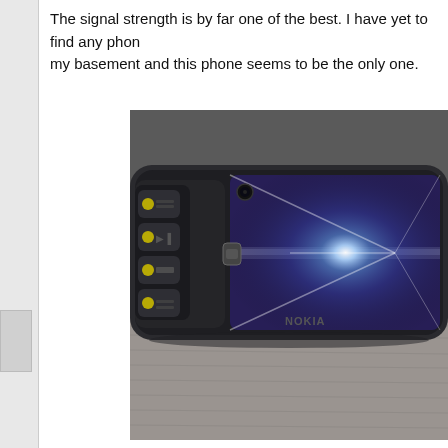The signal strength is by far one of the best. I have yet to find any phon… my basement and this phone seems to be the only one.
[Figure (photo): A Nokia smartphone photographed lying flat, oriented horizontally, showing the front face with screen reflecting a bright star-burst light flare. The phone is dark/black in color with side media control buttons visible on the left side. The phone appears to be a Nokia touchscreen model. Background is a textured grey carpet/surface.]